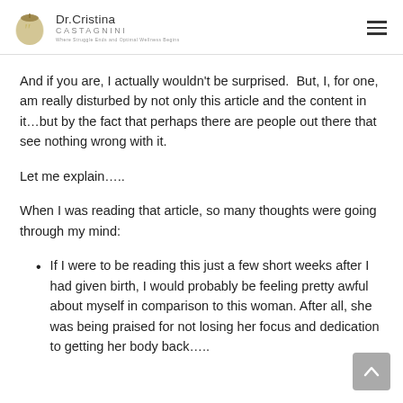Dr.Cristina Castagnini — Where Struggle Ends and Optimal Wellness Begins
And if you are, I actually wouldn't be surprised.  But, I, for one, am really disturbed by not only this article and the content in it…but by the fact that perhaps there are people out there that see nothing wrong with it.
Let me explain…..
When I was reading that article, so many thoughts were going through my mind:
If I were to be reading this just a few short weeks after I had given birth, I would probably be feeling pretty awful about myself in comparison to this woman. After all, she was being praised for not losing her focus and dedication to getting her body back…..